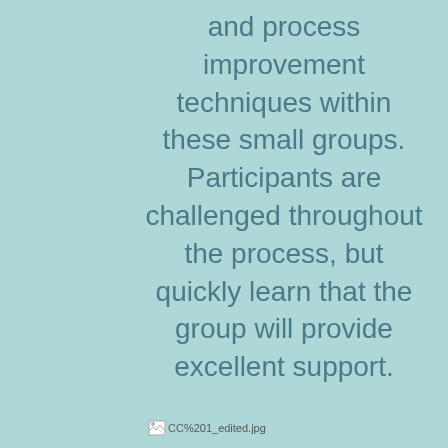and process improvement techniques within these small groups. Participants are challenged throughout the process, but quickly learn that the group will provide excellent support.
[Figure (photo): Broken image placeholder showing filename CC%201_edited.jpg]